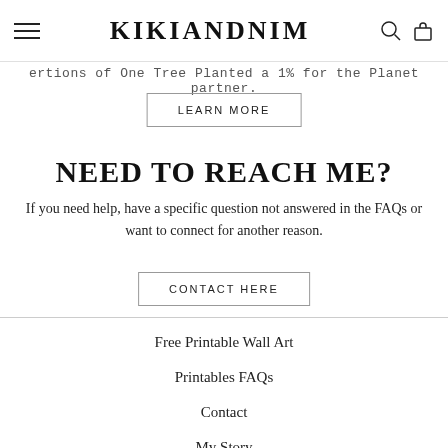KIKIANDNIM
ertions of One Tree Planted a 1% for the Planet partner.
LEARN MORE
NEED TO REACH ME?
If you need help, have a specific question not answered in the FAQs or want to connect for another reason.
CONTACT HERE
Free Printable Wall Art
Printables FAQs
Contact
My Story